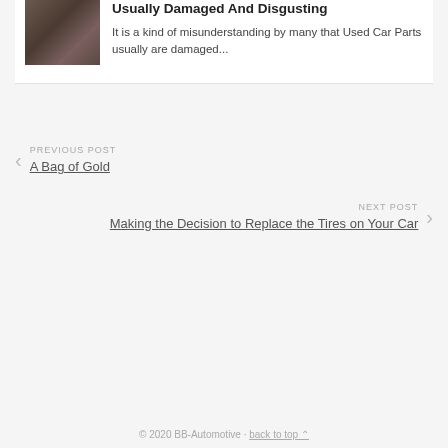[Figure (photo): Photo of a damaged old car, brownish-purple color, outdoors on gravel]
Usually Damaged And Disgusting
It is a kind of misunderstanding by many that Used Car Parts usually are damaged...
PREVIOUS POST
A Bag of Gold
NEXT POST
Making the Decision to Replace the Tires on Your Car
© 2020 BB-Automotive · back to top ∧